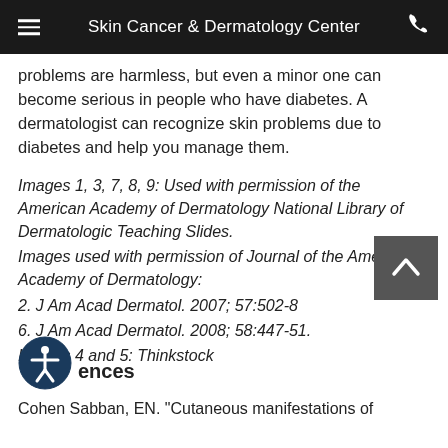Skin Cancer & Dermatology Center
problems are harmless, but even a minor one can become serious in people who have diabetes. A dermatologist can recognize skin problems due to diabetes and help you manage them.
Images 1, 3, 7, 8, 9: Used with permission of the American Academy of Dermatology National Library of Dermatologic Teaching Slides.
Images used with permission of Journal of the American Academy of Dermatology:
2. J Am Acad Dermatol. 2007; 57:502-8
6. J Am Acad Dermatol. 2008; 58:447-51.
Images 4 and 5: Thinkstock
[Figure (illustration): Accessibility icon - person in circle with arms and legs outstretched]
ences
Cohen Sabban, EN. "Cutaneous manifestations of